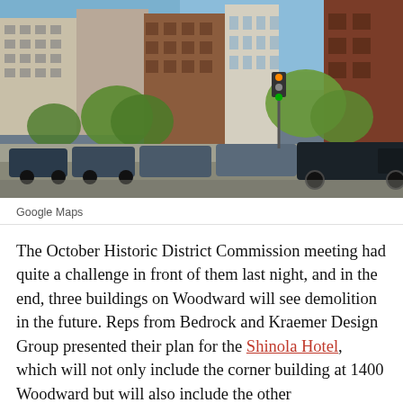[Figure (photo): Google Maps street view photo of Woodward Avenue in Detroit showing historic multi-story brick and stone commercial buildings, parked cars along the street, and trees.]
Google Maps
The October Historic District Commission meeting had quite a challenge in front of them last night, and in the end, three buildings on Woodward will see demolition in the future. Reps from Bedrock and Kraemer Design Group presented their plan for the Shinola Hotel, which will not only include the corner building at 1400 Woodward but will also include the other...